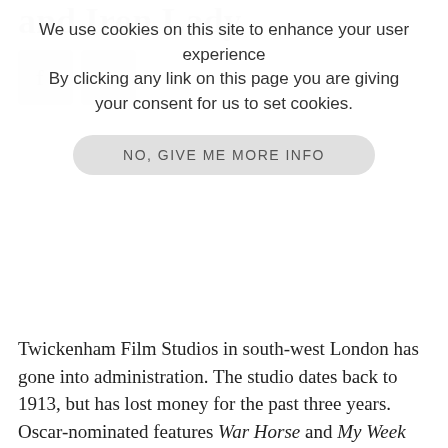and Iron Lady
We use cookies on this site to enhance your user experience
By clicking any link on this page you are giving your consent for us to set cookies.
NO, GIVE ME MORE INFO
Twickenham Film Studios in south-west London has gone into administration. The studio dates back to 1913, but has lost money for the past three years. Oscar-nominated features War Horse and My Week with Marilyn have filmed there recently.
Gerald Krasner is handling the administration and spoke to The Telegraph: “It has lost money for a few years now, and the shareholders have already put in substantial monies but they are not prepared to put any more money in. It will not be retained as a film